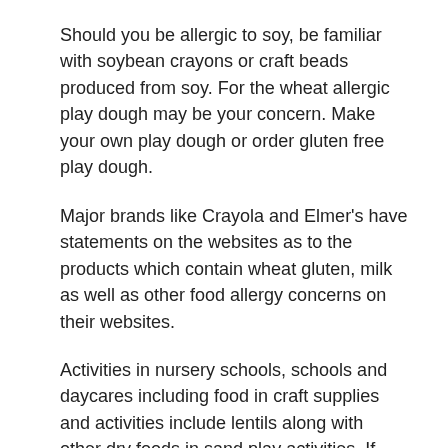Should you be allergic to soy, be familiar with soybean crayons or craft beads produced from soy. For the wheat allergic play dough may be your concern. Make your own play dough or order gluten free play dough.
Major brands like Crayola and Elmer's have statements on the websites as to the products which contain wheat gluten, milk as well as other food allergy concerns on their websites.
Activities in nursery schools, schools and daycares including food in craft supplies and activities include lentils along with other dry foods in sand play activities. If corn allergy is an issue for kids in your care, popcorn necklaces should be avoided.
Many teachers want to glue seeds included in a plant activity or use dried beans as part of a fall decor...